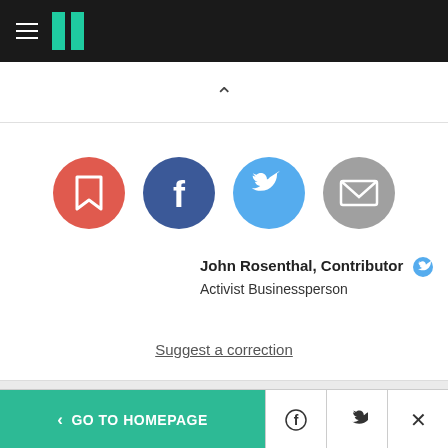HuffPost navigation
[Figure (infographic): Social sharing icons: bookmark (red), Facebook (dark blue), Twitter (light blue), email (gray)]
John Rosenthal, Contributor [Twitter icon]
Activist Businessperson
Suggest a correction
< GO TO HOMEPAGE | Facebook share | Twitter share | Close